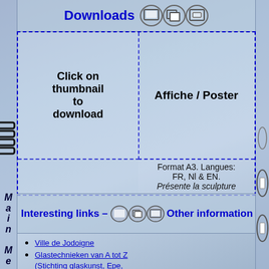Downloads
Click on thumbnail to download
Affiche / Poster
Format A3. Langues: FR, Nl & EN. Présente la sculpture
Interesting links – Other information
Ville de Jodoigne
Glastechnieken van A tot Z (Stichting glaskunst, Epe, Nederland)
Main Me